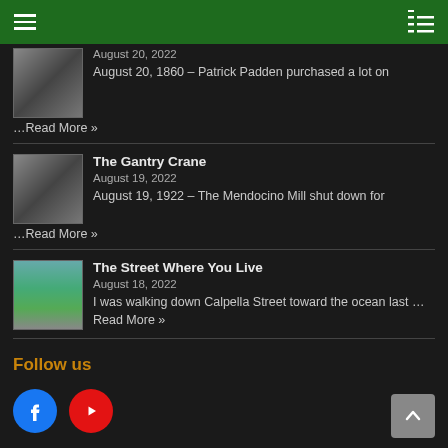Navigation bar with hamburger menu and list icon
August 20, 2022 — August 20, 1860 – Patrick Padden purchased a lot on …Read More »
The Gantry Crane — August 19, 2022 — August 19, 1922 – The Mendocino Mill shut down for …Read More »
The Street Where You Live — August 18, 2022 — I was walking down Calpella Street toward the ocean last …Read More »
Follow us
[Figure (infographic): Facebook and YouTube social media circular icon buttons]
Contact Us